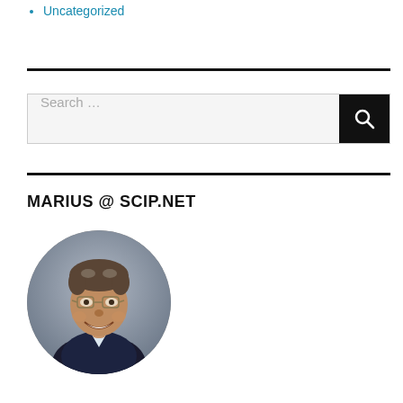Uncategorized
[Figure (photo): Circular portrait photo of a smiling middle-aged man with glasses and grey/brown curly hair, wearing a dark suit and light shirt.]